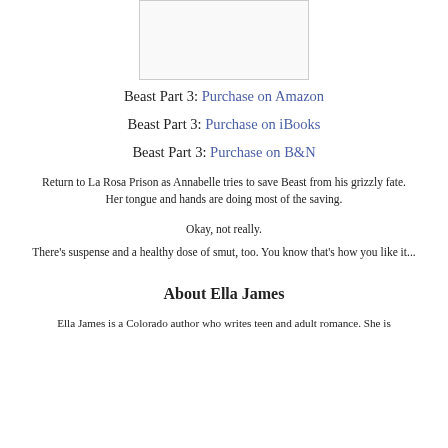[Figure (other): Book cover image placeholder, white/light box with border]
Beast Part 3: Purchase on Amazon
Beast Part 3: Purchase on iBooks
Beast Part 3: Purchase on B&N
Return to La Rosa Prison as Annabelle tries to save Beast from his grizzly fate. Her tongue and hands are doing most of the saving.
Okay, not really.
There's suspense and a healthy dose of smut, too. You know that's how you like it...
About Ella James
Ella James is a Colorado author who writes teen and adult romance. She is